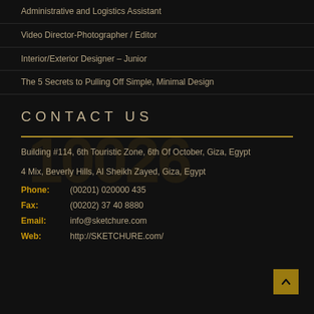Administrative and Logistics Assistant
Video Director-Photographer / Editor
Interior/Exterior Designer – Junior
The 5 Secrets to Pulling Off Simple, Minimal Design
CONTACT US
Building #114, 6th Touristic Zone, 6th Of October, Giza, Egypt
4 Mix, Beverly Hills, Al Sheikh Zayed, Giza, Egypt
Phone: (00201) 020000 435
Fax: (00202) 37 40 8880
Email: info@sketchure.com
Web: http://SKETCHURE.com/